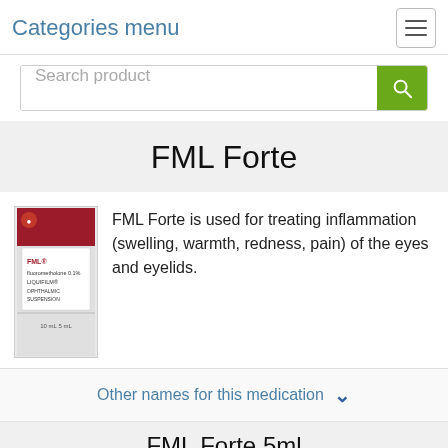Categories menu
[Figure (screenshot): Search product input bar with green search button]
FML Forte
[Figure (photo): FML Forte eye drop bottle product image]
FML Forte is used for treating inflammation (swelling, warmth, redness, pain) of the eyes and eyelids.
Other names for this medication
FML Forte 5ml
| Package | Per Pill | Savings | Price |
| --- | --- | --- | --- |
| 3 suspensions | $17.3 |  | $51.89 |